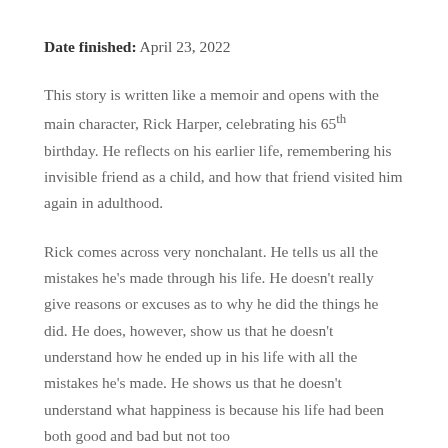Date finished: April 23, 2022
This story is written like a memoir and opens with the main character, Rick Harper, celebrating his 65th birthday. He reflects on his earlier life, remembering his invisible friend as a child, and how that friend visited him again in adulthood.
Rick comes across very nonchalant. He tells us all the mistakes he's made through his life. He doesn't really give reasons or excuses as to why he did the things he did. He does, however, show us that he doesn't understand how he ended up in his life with all the mistakes he's made. He shows us that he doesn't understand what happiness is because his life had been both good and bad but not too